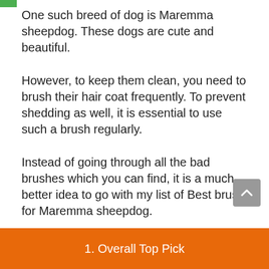One such breed of dog is Maremma sheepdog. These dogs are cute and beautiful.
However, to keep them clean, you need to brush their hair coat frequently. To prevent shedding as well, it is essential to use such a brush regularly.
Instead of going through all the bad brushes which you can find, it is a much better idea to go with my list of Best brush for Maremma sheepdog.
Once you go through my list, it will become easier to pick the best brushes for Maremma sheepdog.
1. Overall Top Pick